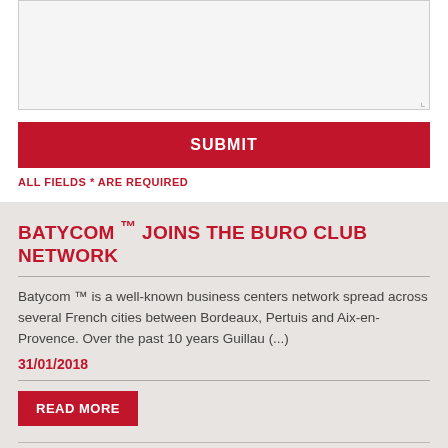[Figure (screenshot): Textarea input box with light gray background and resize handle in bottom-right corner]
SUBMIT
ALL FIELDS * ARE REQUIRED
BATYCOM ™ JOINS THE BURO CLUB NETWORK
Batycom ™ is a well-known business centers network spread across several French cities between Bordeaux, Pertuis and Aix-en-Provence. Over the past 10 years Guillau (...)
31/01/2018
READ MORE
WHO IS DELTA BLEU, BURO CLUB NETWORK'S NEWEST MEMBER?